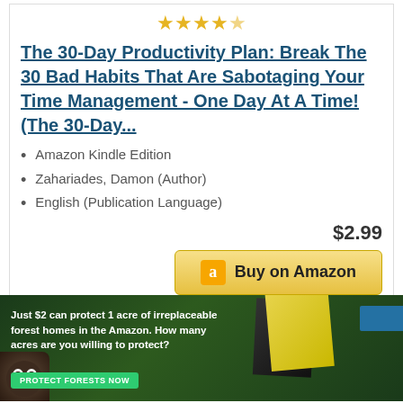[Figure (other): 4.5 star rating displayed as golden stars]
The 30-Day Productivity Plan: Break The 30 Bad Habits That Are Sabotaging Your Time Management - One Day At A Time! (The 30-Day...
Amazon Kindle Edition
Zahariades, Damon (Author)
English (Publication Language)
$2.99
[Figure (other): Buy on Amazon button with Amazon logo]
[Figure (other): Advertisement banner: Just $2 can protect 1 acre of irreplaceable forest homes in the Amazon. How many acres are you willing to protect? PROTECT FORESTS NOW]